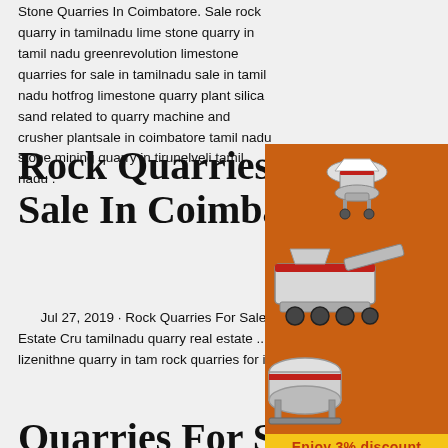Stone Quarries In Coimbatore. Sale rock quarry in tamilnadu lime stone quarry in tamil nadu greenrevolution limestone quarries for sale in tamilnadu sale in tamil nadu hotfrog limestone quarry plant silica sand related to quarry machine and crusher plantsale in coimbatore tamil nadu stone mining quarry in tirunelveli tamil nadu .
Rock Quarries For Sale In Coimbato
Jul 27, 2019 · Rock Quarries For Sale In Coimbatore Abstract. rock quarries crusher for coimbatoreTamilnadu Quarry Real Estate Cru tamilnadu quarry real estate .. manufacturing for sale in tamil nadu, the mobile crusher unit constructed Get Price lizenithne quarry in tam rock quarries for in coimbatorerock quarries fo coimbatore industry news quarry
[Figure (illustration): Advertisement sidebar showing mining/crushing equipment machines on an orange background with 'Enjoy 3% discount', 'Click to Chat', 'Enquiry', and 'limingjlmofen@sina.com']
Quarries For Sale In